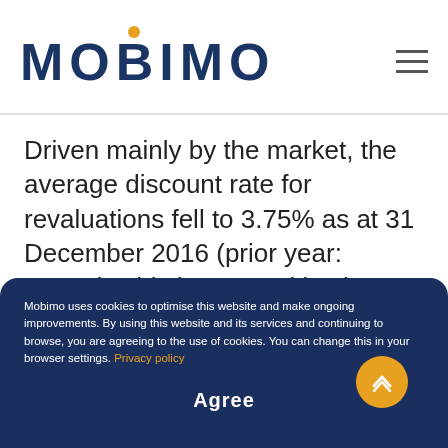MOBIMO
Driven mainly by the market, the average discount rate for revaluations fell to 3.75% as at 31 December 2016 (prior year: 4.08%). This has a positive impact on the valuations of residential properties and construction projects in particular. The revaluation of investment properties and of investment properties under construction resulted in a revaluation of CHF 807 million (prior year: CHF 347 million).
Mobimo uses cookies to optimise this website and make ongoing improvements. By using this website and its services and continuing to browse, you are agreeing to the use of cookies. You can change this in your browser settings. Privacy policy